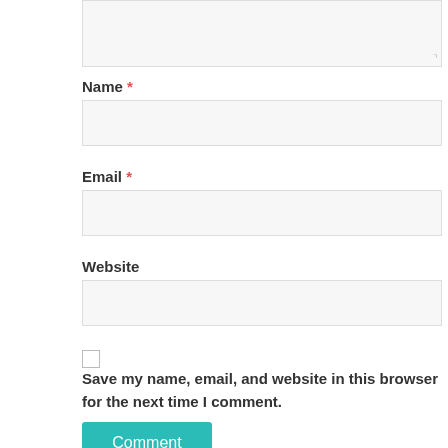[Figure (screenshot): Top portion of a textarea input field (comment box), partially cropped at top]
Name *
[Figure (screenshot): Name text input field, empty, light gray background]
Email *
[Figure (screenshot): Email text input field, empty, light gray background]
Website
[Figure (screenshot): Website text input field, empty, light gray background]
[Figure (screenshot): Unchecked checkbox]
Save my name, email, and website in this browser for the next time I comment.
Comment